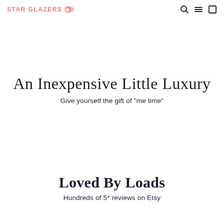STAR GLAZERS
An Inexpensive Little Luxury
Give yourself the gift of "me time"
Loved By Loads
Hundreds of 5* reviews on Etsy